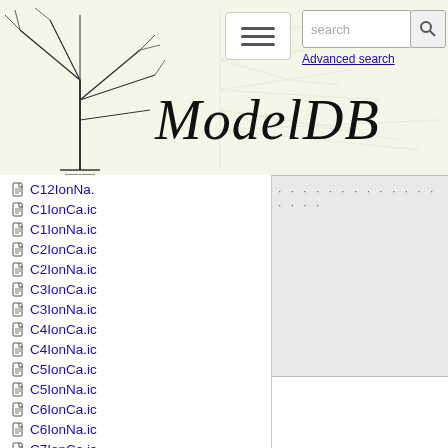ModelDB - Advanced search
C12IonNa.
C1IonCa.ic
C1IonNa.ic
C2IonCa.ic
C2IonNa.ic
C3IonCa.ic
C3IonNa.ic
C4IonCa.ic
C4IonNa.ic
C5IonCa.ic
C5IonNa.ic
C6IonCa.ic
C6IonNa.ic
C7IonCa.ic
C7IonNa.ic